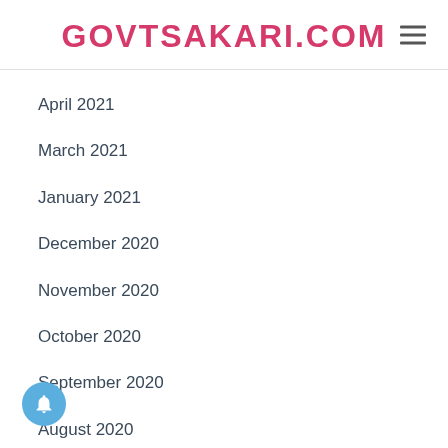GOVTSAKARI.COM
April 2021
March 2021
January 2021
December 2020
November 2020
October 2020
September 2020
August 2020
July 2020